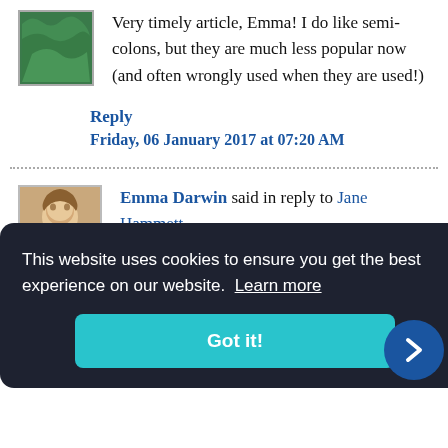Very timely article, Emma! I do like semi-colons, but they are much less popular now (and often wrongly used when they are used!)
Reply
Friday, 06 January 2017 at 07:20 AM
Emma Darwin said in reply to Jane Hammett...
we get to the point where
This website uses cookies to ensure you get the best experience on our website. Learn more
Got it!